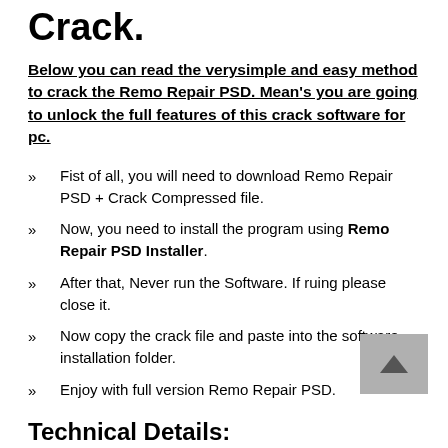Crack.
Below you can read the verysimple and easy method to crack the Remo Repair PSD. Mean’s you are going to unlock the full features of this crack software for pc.
Fist of all, you will need to download Remo Repair PSD + Crack Compressed file.
Now, you need to install the program using Remo Repair PSD Installer.
After that, Never run the Software. If ruing please close it.
Now copy the crack file and paste into the software installation folder.
Enjoy with full version Remo Repair PSD.
Technical Details: